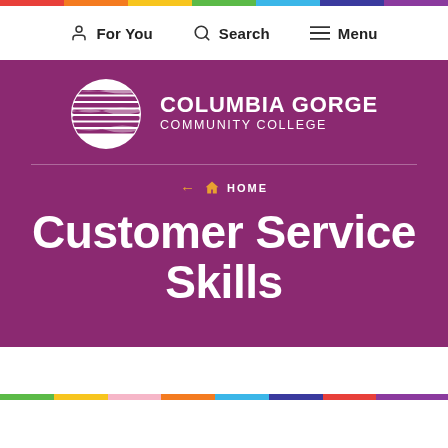For You | Search | Menu
[Figure (logo): Columbia Gorge Community College logo with globe icon and college name in white text on purple background]
← 🏠 HOME
Customer Service Skills